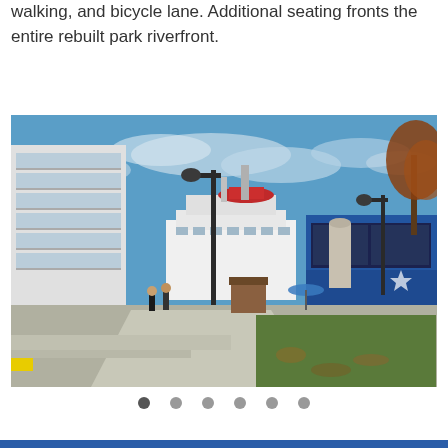walking, and bicycle lane. Additional seating fronts the entire rebuilt park riverfront.
[Figure (photo): Outdoor riverfront scene with a multi-story modern building on the left, a riverboat vessel in the background, a large blue tour bus on the right, pedestrians walking on a concrete path, green grass area, and autumn trees under a partly cloudy blue sky.]
• • • • • •  (carousel navigation dots)